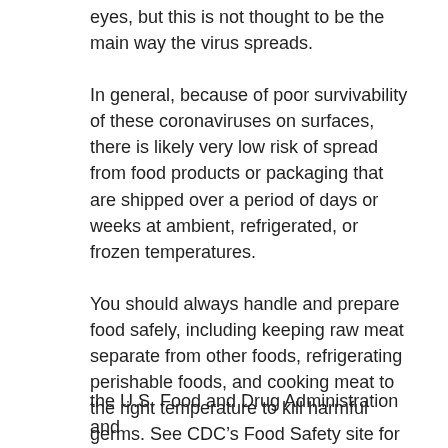eyes, but this is not thought to be the main way the virus spreads.
In general, because of poor survivability of these coronaviruses on surfaces, there is likely very low risk of spread from food products or packaging that are shipped over a period of days or weeks at ambient, refrigerated, or frozen temperatures.
You should always handle and prepare food safely, including keeping raw meat separate from other foods, refrigerating perishable foods, and cooking meat to the right temperature to kill harmful germs. See CDC’s Food Safety site for more information.
For more information on COVID-19, visit CDC’s FAQ page.
For more information on COVID-19 and food, see FAQ pages from
the U.S. Food and Drug Administration and